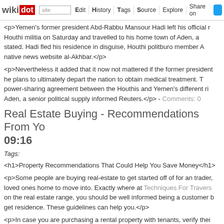wikidot | site | Edit | History | Tags | Source | Explore | Share on [twitter]
<p>Yemen's former president Abd-Rabbu Mansour Hadi left his official r... Houthi militia on Saturday and travelled to his home town of Aden, a... stated. Hadi fled his residence in disguise, Houthi politburo member A... native news website al-Akhbar.</p>
<p>Nevertheless it added that it now not mattered if the former president... he plans to ultimately depart the nation to obtain medical treatment. T... power-sharing agreement between the Houthis and Yemen's different ri... Aden, a senior political supply informed Reuters.</p> - Comments: 0
Real Estate Buying - Recommendations From Yo... 09:16
Tags:
<h1>Property Recommendations That Could Help You Save Money</h1>
<p>Some people are buying real-estate to get started off of for an trader, ... loved ones home to move into. Exactly where at Techniques For Travers... on the real estate range, you should be well informed being a customer b... get residence. These guidelines can help you.</p>
<p>In case you are purchasing a rental property with tenants, verify thei... for an individual desperate to unload a property to discover or work with te... the house is distributed, you may be still left struggling to locate new tena...
<p>Keep in mind that what exactly is beyond the home you desire is jus... The perfect part of real estate property within can very easily remain in... should be...